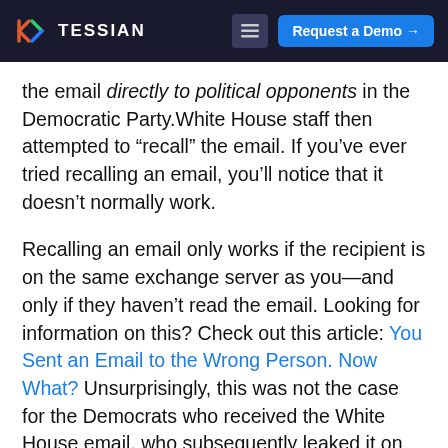TESSIAN | Request a Demo
the email directly to political opponents in the Democratic Party. White House staff then attempted to “recall” the email. If you’ve ever tried recalling an email, you’ll notice that it doesn’t normally work.
Recalling an email only works if the recipient is on the same exchange server as you—and only if they haven’t read the email. Looking for information on this? Check out this article: You Sent an Email to the Wrong Person. Now What? Unsurprisingly, this was not the case for the Democrats who received the White House email, who subsequently leaked it on Twitter.